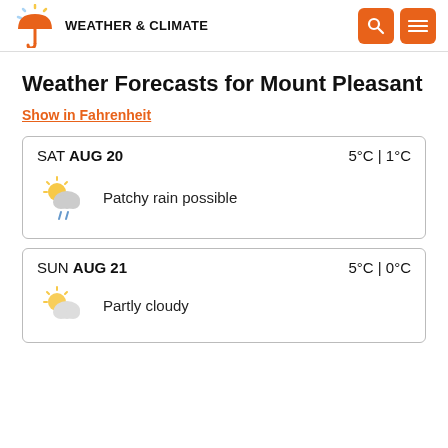WEATHER & CLIMATE
Weather Forecasts for Mount Pleasant
Show in Fahrenheit
SAT AUG 20 — 5°C | 1°C — Patchy rain possible
SUN AUG 21 — 5°C | 0°C — Partly cloudy